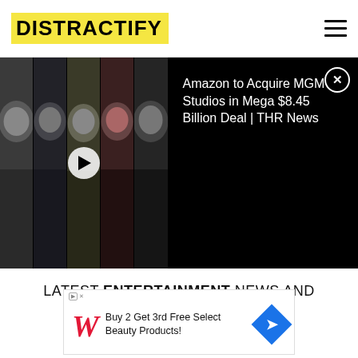DISTRACTIFY
[Figure (screenshot): Video banner showing multiple film/TV character thumbnails with a play button overlay on the third thumbnail, and a black info panel on the right showing video title]
Amazon to Acquire MGM Studios in Mega $8.45 Billion Deal | THR News
LATEST ENTERTAINMENT NEWS AND UPDATES
[Figure (infographic): Walgreens advertisement banner: Buy 2 Get 3rd Free Select Beauty Products!]